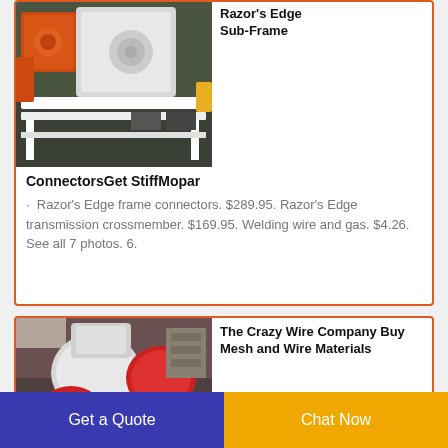[Figure (photo): Industrial machine with orange components and white frame/conveyor structure in a workshop setting]
Razor's Edge Sub-Frame
ConnectorsGet StiffMopar
· Razor's Edge frame connectors. $289.95. Razor's Edge transmission crossmember. $169.95. Welding wire and gas. $4.26. See all 7 photos. 6.
[Figure (photo): Industrial machinery with red and white cylindrical components in a warehouse or workshop]
The Crazy Wire Company Buy Mesh and Wire Materials
Get a Quote
Chat Now